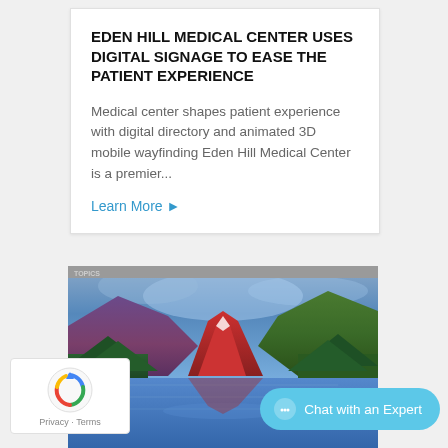EDEN HILL MEDICAL CENTER USES DIGITAL SIGNAGE TO EASE THE PATIENT EXPERIENCE
Medical center shapes patient experience with digital directory and animated 3D mobile wayfinding Eden Hill Medical Center is a premier...
Learn More ►
[Figure (photo): Digital signage display showing a vibrant landscape with mountains, blue skies, green trees and a reflective lake, displayed on a large screen monitor]
[Figure (logo): reCAPTCHA badge with rotating arrow logo, Privacy and Terms links]
Chat with an Expert